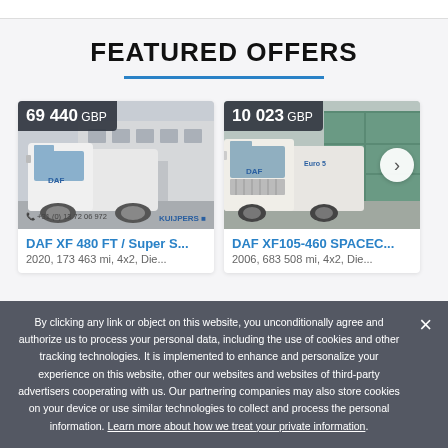FEATURED OFFERS
[Figure (photo): White DAF XF 480 FT truck parked outside a warehouse, with Kuijpers Trucking branding]
69 440 GBP
DAF XF 480 FT / Super S...
2020, 173 463 mi, 4x2, Die...
[Figure (photo): White DAF XF105-460 SPACECAB truck parked in front of green shipping containers]
10 023 GBP
DAF XF105-460 SPACEC...
2006, 683 508 mi, 4x2, Die...
By clicking any link or object on this website, you unconditionally agree and authorize us to process your personal data, including the use of cookies and other tracking technologies. It is implemented to enhance and personalize your experience on this website, other our websites and websites of third-party advertisers cooperating with us. Our partnering companies may also store cookies on your device or use similar technologies to collect and process the personal information. Learn more about how we treat your private information.